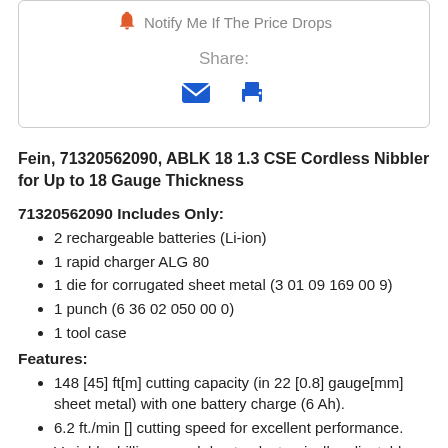[Figure (screenshot): Product page card with notify me bell icon, share label, email icon, printer icon]
Fein, 71320562090, ABLK 18 1.3 CSE Cordless Nibbler for Up to 18 Gauge Thickness
71320562090 Includes Only:
2 rechargeable batteries (Li-ion)
1 rapid charger ALG 80
1 die for corrugated sheet metal (3 01 09 169 00 9)
1 punch (6 36 02 050 00 0)
1 tool case
Features:
148 [45] ft[m] cutting capacity (in 22 [0.8] gauge[mm] sheet metal) with one battery charge (6 Ah).
6.2 ft./min [] cutting speed for excellent performance.
Variable drilling speed due to electronically adjustable stroke
See more product information